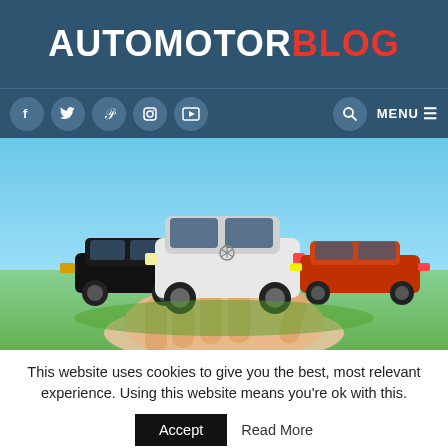AUTOMOTORBLOG
[Figure (screenshot): Navigation bar with social media icons (Facebook, Twitter, Pinterest, Instagram, YouTube), search icon, and MENU button on dark blue background]
[Figure (photo): Hero image showing a hand holding three luxury cars: a black BMW convertible on the left, a white Mercedes-Benz SUV in the center, and an orange Jaguar sports car on the right, against a blue sky background]
This website uses cookies to give you the best, most relevant experience. Using this website means you're ok with this.
Accept   Read More